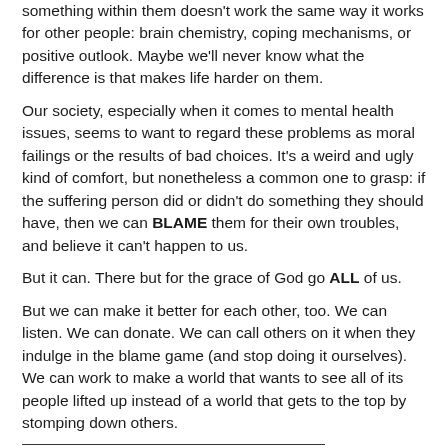something within them doesn't work the same way it works for other people: brain chemistry, coping mechanisms, or positive outlook. Maybe we'll never know what the difference is that makes life harder on them.
Our society, especially when it comes to mental health issues, seems to want to regard these problems as moral failings or the results of bad choices. It's a weird and ugly kind of comfort, but nonetheless a common one to grasp: if the suffering person did or didn't do something they should have, then we can BLAME them for their own troubles, and believe it can't happen to us.
But it can. There but for the grace of God go ALL of us.
But we can make it better for each other, too. We can listen. We can donate. We can call others on it when they indulge in the blame game (and stop doing it ourselves). We can work to make a world that wants to see all of its people lifted up instead of a world that gets to the top by stomping down others.